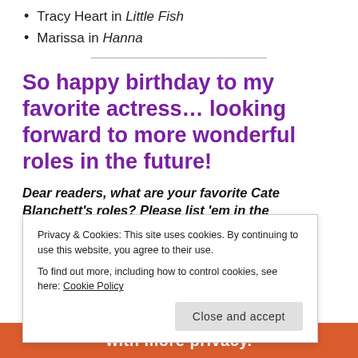Tracy Heart in Little Fish
Marissa in Hanna
So happy birthday to my favorite actress… looking forward to more wonderful roles in the future!
Dear readers, what are your favorite Cate Blanchett's roles? Please list 'em in the
Privacy & Cookies: This site uses cookies. By continuing to use this website, you agree to their use. To find out more, including how to control cookies, see here: Cookie Policy
Close and accept
with more privacy.